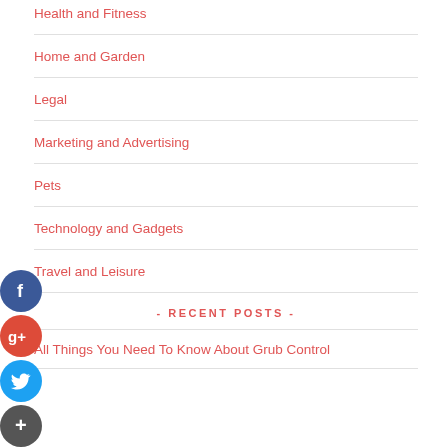Health and Fitness
Home and Garden
Legal
Marketing and Advertising
Pets
Technology and Gadgets
Travel and Leisure
- RECENT POSTS -
All Things You Need To Know About Grub Control